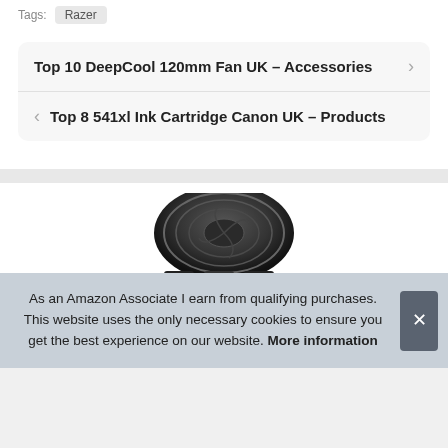Tags: Razer
Top 10 DeepCool 120mm Fan UK – Accessories
Top 8 541xl Ink Cartridge Canon UK – Products
[Figure (photo): Partial view of a circular product (fan or lens) shown from above, dark colored]
As an Amazon Associate I earn from qualifying purchases. This website uses the only necessary cookies to ensure you get the best experience on our website. More information